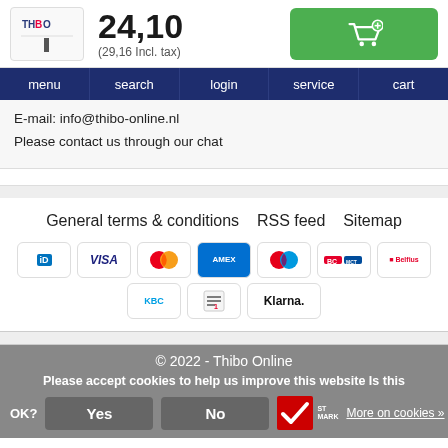24,10 (29,16 Incl. tax)
E-mail: info@thibo-online.nl
Please contact us through our chat
General terms & conditions   RSS feed   Sitemap
[Figure (screenshot): Payment method icons: iD, VISA, Mastercard, American Express, Maestro, Bancontact, Belfius, KBC, invoice, Klarna]
© 2022 - Thibo Online
Please accept cookies to help us improve this website Is this OK?  Yes  No  More on cookies »